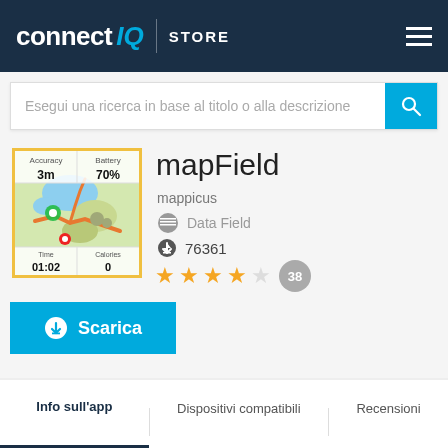connect IQ STORE
Esegui una ricerca in base al titolo o alla descrizione
[Figure (screenshot): mapField app screenshot showing map with accuracy 3m, battery 70%, time 01:02, calories 0]
mapField
mappicus
Data Field
76361
★★★★☆ 38 reviews
Scarica
Info sull'app
Dispositivi compatibili
Recensioni